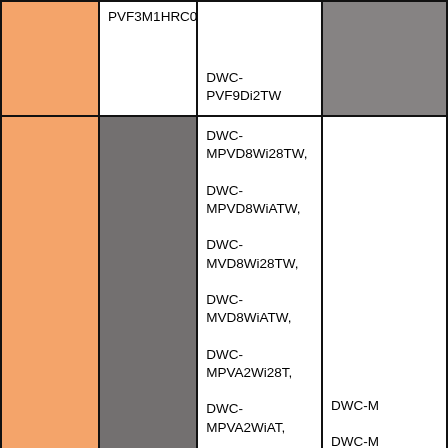|  |  |  |  |
| --- | --- | --- | --- |
|  | PVF3M1HRC0 | DWC-PVF9Di2TW |  |
| Compatible MEGApix Vandal Ball IP Cameras |  | DWC-MPVD8Wi28TW,
DWC-MPVD8WiATW,
DWC-MVD8Wi28TW,
DWC-MVD8WiATW,
DWC-MPVA2Wi28T,
DWC-MPVA2WiAT, | DWC-M...
DWC-M...
DWC-M...
DWC-M... |